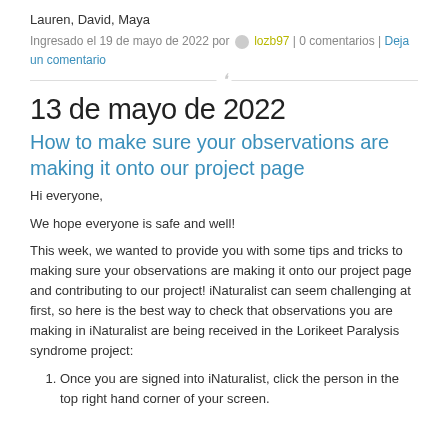Lauren, David, Maya
Ingresado el 19 de mayo de 2022 por lozb97 | 0 comentarios | Deja un comentario
13 de mayo de 2022
How to make sure your observations are making it onto our project page
Hi everyone,
We hope everyone is safe and well!
This week, we wanted to provide you with some tips and tricks to making sure your observations are making it onto our project page and contributing to our project! iNaturalist can seem challenging at first, so here is the best way to check that observations you are making in iNaturalist are being received in the Lorikeet Paralysis syndrome project:
Once you are signed into iNaturalist, click the person in the top right hand corner of your screen.